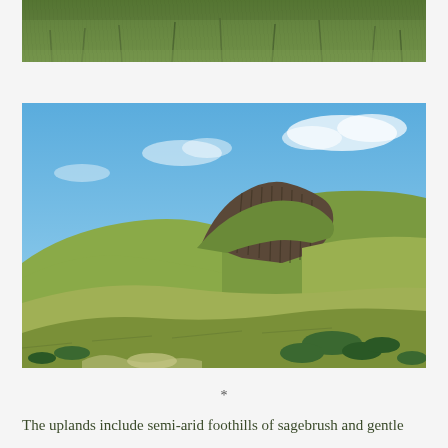[Figure (photo): Top portion of a grassy upland hillside scene, showing dense green and golden grass vegetation at the top of the frame — appears to be the lower portion of a photo cropped at the top of the page.]
[Figure (photo): Landscape photograph showing semi-arid foothills with basalt rock outcroppings and columnar jointing in the center, green grass-covered rolling hills, sagebrush in the foreground, and a blue sky with light clouds above.]
*
The uplands include semi-arid foothills of sagebrush and gentle